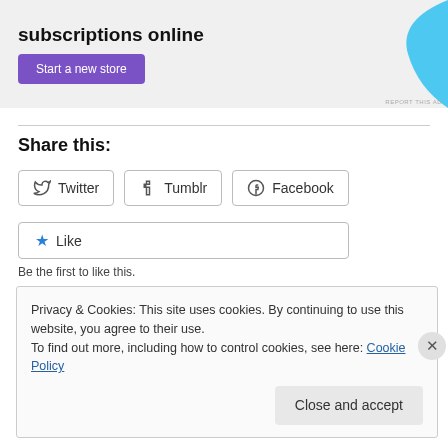[Figure (other): Advertisement banner with text 'subscriptions online', purple 'Start a new store' button, and blue decorative shape on the right with 'REPORT THIS AD' text.]
Share this:
Twitter  Tumblr  Facebook
Like
Be the first to like this.
Privacy & Cookies: This site uses cookies. By continuing to use this website, you agree to their use.
To find out more, including how to control cookies, see here: Cookie Policy
Close and accept